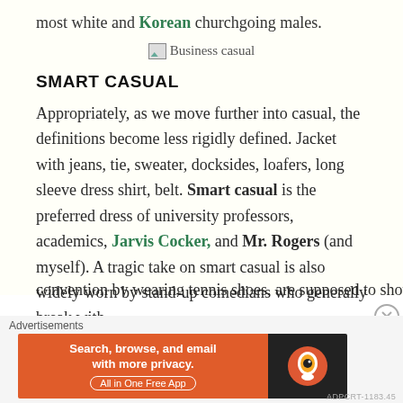most white and Korean churchgoing males.
[Figure (other): Broken image placeholder labeled 'Business casual']
SMART CASUAL
Appropriately, as we move further into casual, the definitions become less rigidly defined. Jacket with jeans, tie, sweater, docksides, loafers, long sleeve dress shirt, belt. Smart casual is the preferred dress of university professors, academics, Jarvis Cocker, and Mr. Rogers (and myself). A tragic take on smart casual is also widely worn by stand-up comedians who generally break with convention by wearing tennis shoes, are supposed to show
Advertisements
[Figure (other): DuckDuckGo advertisement banner: 'Search, browse, and email with more privacy. All in One Free App']